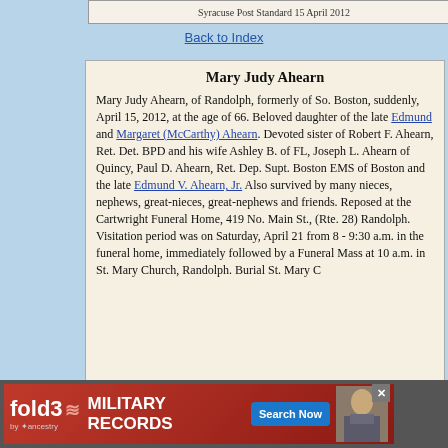Syracuse Post Standard 15 April 2012
Back to Index
Mary Judy Ahearn
Mary Judy Ahearn, of Randolph, formerly of So. Boston, suddenly, April 15, 2012, at the age of 66. Beloved daughter of the late Edmund and Margaret (McCarthy) Ahearn. Devoted sister of Robert F. Ahearn, Ret. Det. BPD and his wife Ashley B. of FL, Joseph L. Ahearn of Quincy, Paul D. Ahearn, Ret. Dep. Supt. Boston EMS of Boston and the late Edmund V. Ahearn, Jr. Also survived by many nieces, nephews, great-nieces, great-nephews and friends. Reposed at the Cartwright Funeral Home, 419 No. Main St., (Rte. 28) Randolph. Visitation period was on Saturday, April 21 from 8 - 9:30 a.m. in the funeral home, immediately followed by a Funeral Mass at 10 a.m. in St. Mary Church, Randolph. Burial St. Mary Cemetery, Randolph.
[Figure (other): fold3 by Ancestry advertisement for Military Records with Search Now button]